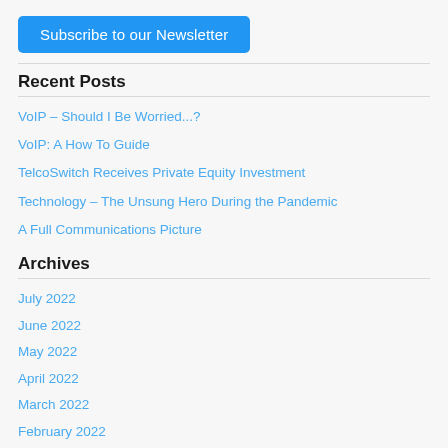Subscribe to our Newsletter
Recent Posts
VoIP – Should I Be Worried...?
VoIP: A How To Guide
TelcoSwitch Receives Private Equity Investment
Technology – The Unsung Hero During the Pandemic
A Full Communications Picture
Archives
July 2022
June 2022
May 2022
April 2022
March 2022
February 2022
January 2022
December 2021